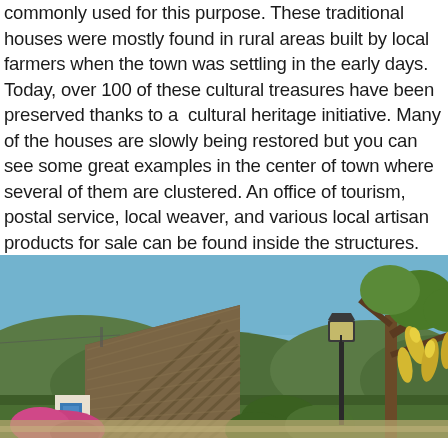commonly used for this purpose. These traditional houses were mostly found in rural areas built by local farmers when the town was settling in the early days. Today, over 100 of these cultural treasures have been preserved thanks to a cultural heritage initiative. Many of the houses are slowly being restored but you can see some great examples in the center of town where several of them are clustered. An office of tourism, postal service, local weaver, and various local artisan products for sale can be found inside the structures.
[Figure (photo): A traditional thatched-roof triangular house (palheiro) in a rural setting with blue sky, green hills, flowering plants including yellow trumpet flowers and pink bougainvillea, and a street lamp in the background.]